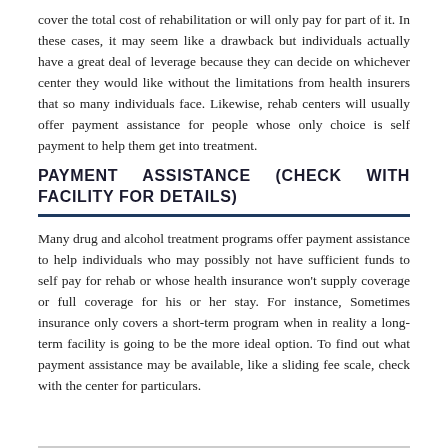cover the total cost of rehabilitation or will only pay for part of it. In these cases, it may seem like a drawback but individuals actually have a great deal of leverage because they can decide on whichever center they would like without the limitations from health insurers that so many individuals face. Likewise, rehab centers will usually offer payment assistance for people whose only choice is self payment to help them get into treatment.
PAYMENT ASSISTANCE (CHECK WITH FACILITY FOR DETAILS)
Many drug and alcohol treatment programs offer payment assistance to help individuals who may possibly not have sufficient funds to self pay for rehab or whose health insurance won't supply coverage or full coverage for his or her stay. For instance, Sometimes insurance only covers a short-term program when in reality a long-term facility is going to be the more ideal option. To find out what payment assistance may be available, like a sliding fee scale, check with the center for particulars.